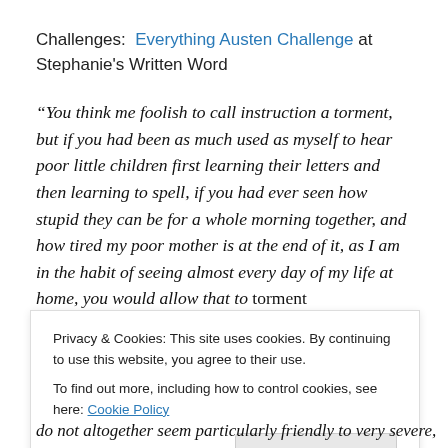Challenges: Everything Austen Challenge at Stephanie's Written Word
“You think me foolish to call instruction a torment, but if you had been as much used as myself to hear poor little children first learning their letters and then learning to spell, if you had ever seen how stupid they can be for a whole morning together, and how tired my poor mother is at the end of it, as I am in the habit of seeing almost every day of my life at home, you would allow that to torment
Privacy & Cookies: This site uses cookies. By continuing to use this website, you agree to their use. To find out more, including how to control cookies, see here: Cookie Policy
do not altogether seem particularly friendly to very severe,